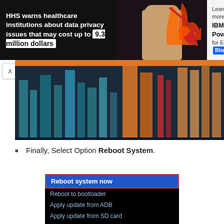[Figure (screenshot): Advertisement banner: HHS warns healthcare institutions about data privacy issues that may cost up to 9.3 million dollars. IBM Power10 for Epic Blog ad on the right.]
[Figure (bar-chart): Colorful vertical bar chart on dark background, partially visible, with various colored bars (teal, blue, orange, red).]
Finally, Select Option Reboot System.
[Figure (screenshot): Android recovery menu screenshot showing: Reboot system now (highlighted/selected), Reboot to bootloader, Apply update from ADB, Apply update from SD card, Wipe data/factory reset, Wipe cache partition, Mount / system, View recovery logs]